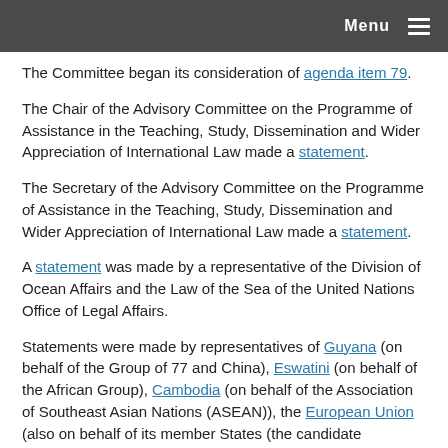Menu
The Committee began its consideration of agenda item 79.
The Chair of the Advisory Committee on the Programme of Assistance in the Teaching, Study, Dissemination and Wider Appreciation of International Law made a statement.
The Secretary of the Advisory Committee on the Programme of Assistance in the Teaching, Study, Dissemination and Wider Appreciation of International Law made a statement.
A statement was made by a representative of the Division of Ocean Affairs and the Law of the Sea of the United Nations Office of Legal Affairs.
Statements were made by representatives of Guyana (on behalf of the Group of 77 and China), Eswatini (on behalf of the African Group), Cambodia (on behalf of the Association of Southeast Asian Nations (ASEAN)), the European Union (also on behalf of its member States (the candidate countries Turkey, the Republic of North Macedonia, Montenegro, Serbia and Albania, the country of the Stabilization and Association Process and potential candidate Bosnia and Herzegovina, as well as Ukraine, the Republic of